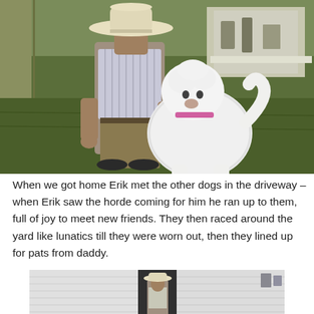[Figure (photo): A person wearing a white cowboy hat and striped shirt kneeling beside a large fluffy white dog outdoors on grass, with a table and items visible in the background.]
When we got home Erik met the other dogs in the driveway – when Erik saw the horde coming for him he ran up to them, full of joy to meet new friends. They then raced around the yard like lunatics till they were worn out, then they lined up for pats from daddy.
[Figure (photo): A person wearing a white cowboy hat standing in a doorway or entry area with white siding visible.]